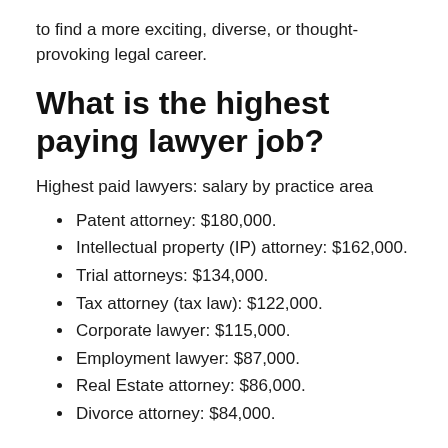to find a more exciting, diverse, or thought-provoking legal career.
What is the highest paying lawyer job?
Highest paid lawyers: salary by practice area
Patent attorney: $180,000.
Intellectual property (IP) attorney: $162,000.
Trial attorneys: $134,000.
Tax attorney (tax law): $122,000.
Corporate lawyer: $115,000.
Employment lawyer: $87,000.
Real Estate attorney: $86,000.
Divorce attorney: $84,000.